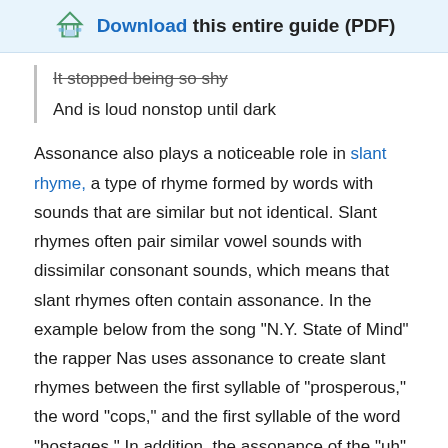Download this entire guide (PDF)
It stopped being so shy
And is loud nonstop until dark
Assonance also plays a noticeable role in slant rhyme, a type of rhyme formed by words with sounds that are similar but not identical. Slant rhymes often pair similar vowel sounds with dissimilar consonant sounds, which means that slant rhymes often contain assonance. In the example below from the song "N.Y. State of Mind" the rapper Nas uses assonance to create slant rhymes between the first syllable of "prosperous," the word "cops," and the first syllable of the word "hostages." In addition, the assonance of the "uh" sound in final syllables of "prosperous," "dangerous," and "could just" establishes the slant rhyme that ends with the slightly different vowel